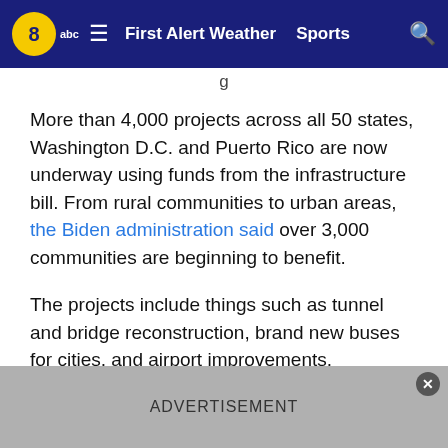8 abc | First Alert Weather | Sports
More than 4,000 projects across all 50 states, Washington D.C. and Puerto Rico are now underway using funds from the infrastructure bill. From rural communities to urban areas, the Biden administration said over 3,000 communities are beginning to benefit.
The projects include things such as tunnel and bridge reconstruction, brand new buses for cities, and airport improvements.
Secretary Buttigieg said he anticipates that over the next 5 years, the funding will launch thousands more projects in local communities.
ADVERTISEMENT